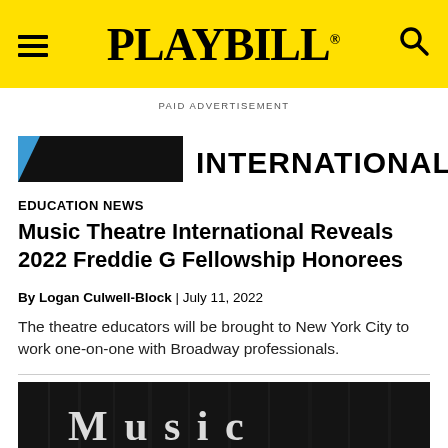PLAYBILL
PAID ADVERTISEMENT
[Figure (logo): Music Theatre International logo — black rectangle with blue triangle accent on left, text INTERNATIONAL on right]
EDUCATION NEWS
Music Theatre International Reveals 2022 Freddie G Fellowship Honorees
By Logan Culwell-Block | July 11, 2022
The theatre educators will be brought to New York City to work one-on-one with Broadway professionals.
[Figure (photo): Dark/black background photo showing the Music Theatre International logo text in white serif letters on a dark curtain-like background]